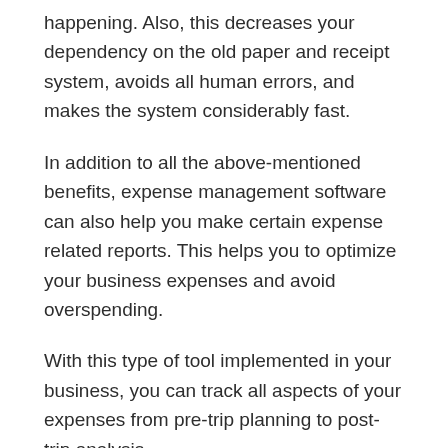happening. Also, this decreases your dependency on the old paper and receipt system, avoids all human errors, and makes the system considerably fast.
In addition to all the above-mentioned benefits, expense management software can also help you make certain expense related reports. This helps you to optimize your business expenses and avoid overspending.
With this type of tool implemented in your business, you can track all aspects of your expenses from pre-trip planning to post-trip analysis.
What Features to Look in Expense Management System